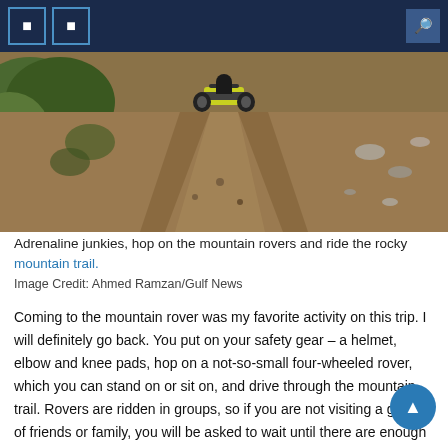[Figure (photo): ATV/quad bike riding on a rocky mountain dirt trail, viewed from behind, green vegetation on left side]
Adrenaline junkies, hop on the mountain rovers and ride the rocky mountain trail.
Image Credit: Ahmed Ramzan/Gulf News
Coming to the mountain rover was my favorite activity on this trip. I will definitely go back. You put on your safety gear – a helmet, elbow and knee pads, hop on a not-so-small four-wheeled rover, which you can stand on or sit on, and drive through the mountain trail. Rovers are ridden in groups, so if you are not visiting a group of friends or family, you will be asked to wait until there are enough riders for the t… The rovers are very easy to maneuver, a guide first shows